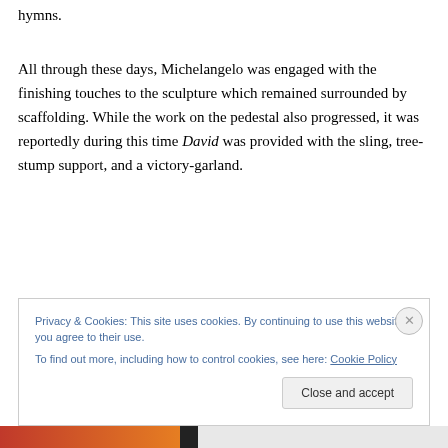hymns.
All through these days, Michelangelo was engaged with the finishing touches to the sculpture which remained surrounded by scaffolding. While the work on the pedestal also progressed, it was reportedly during this time David was provided with the sling, tree-stump support, and a victory-garland.
Privacy & Cookies: This site uses cookies. By continuing to use this website, you agree to their use.
To find out more, including how to control cookies, see here: Cookie Policy
Close and accept